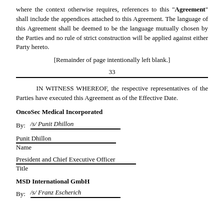where the context otherwise requires, references to this "Agreement" shall include the appendices attached to this Agreement. The language of this Agreement shall be deemed to be the language mutually chosen by the Parties and no rule of strict construction will be applied against either Party hereto.
[Remainder of page intentionally left blank.]
33
IN WITNESS WHEREOF, the respective representatives of the Parties have executed this Agreement as of the Effective Date.
OncoSec Medical Incorporated
By:   /s/ Punit Dhillon
Punit Dhillon
Name
President and Chief Executive Officer
Title
MSD International GmbH
By:   /s/ Franz Escherich